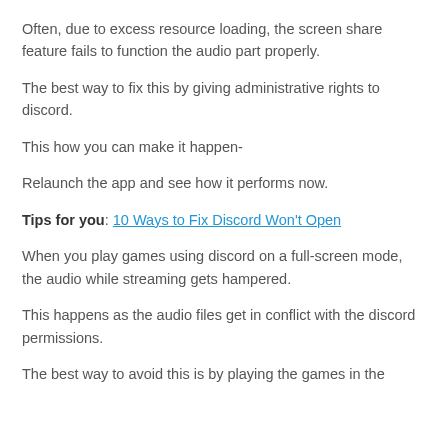Often, due to excess resource loading, the screen share feature fails to function the audio part properly.
The best way to fix this by giving administrative rights to discord.
This how you can make it happen-
Relaunch the app and see how it performs now.
Tips for you: 10 Ways to Fix Discord Won't Open
When you play games using discord on a full-screen mode, the audio while streaming gets hampered.
This happens as the audio files get in conflict with the discord permissions.
The best way to avoid this is by playing the games in the